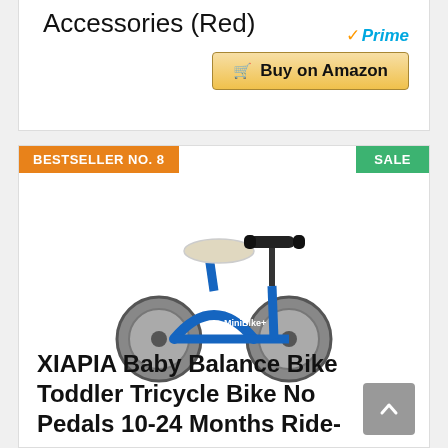Accessories (Red)
[Figure (other): Amazon Prime badge and Buy on Amazon button]
BESTSELLER NO. 8
SALE
[Figure (photo): Blue XIAPIA baby balance bike / toddler tricycle with four wheels and no pedals]
XIAPIA Baby Balance Bike Toddler Tricycle Bike No Pedals 10-24 Months Ride-